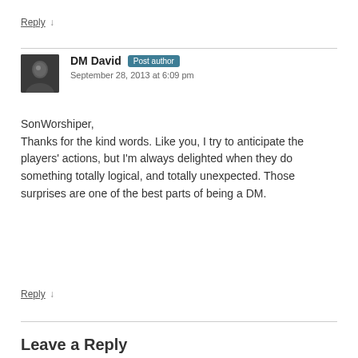Reply ↓
DM David Post author
September 28, 2013 at 6:09 pm
SonWorshiper,
Thanks for the kind words. Like you, I try to anticipate the players' actions, but I'm always delighted when they do something totally logical, and totally unexpected. Those surprises are one of the best parts of being a DM.
Reply ↓
Leave a Reply